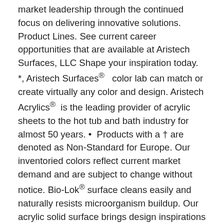market leadership through the continued focus on delivering innovative solutions. Product Lines. See current career opportunities that are available at Aristech Surfaces, LLC Shape your inspiration today. *, Aristech Surfaces®   color lab can match or create virtually any color and design. Aristech Acrylics®  is the leading provider of acrylic sheets to the hot tub and bath industry for almost 50 years. •  Products with a † are denoted as Non-Standard for Europe. Our inventoried colors reflect current market demand and are subject to change without notice. Bio-Lok® surface cleans easily and naturally resists microorganism buildup. Our acrylic solid surface brings design inspirations to life. Company profile page for Aristech Acrylics LLC including stock price, company news, press releases, executives, board members, and contact information 7350 Empire Drive, Florence, KY 41042 USA. Reviews (859) 283-6486 Website. Aristech Acrylics. Current Job Listings 7 Total Jobs. To view our STUDIO Collection® colors click here. Leader mondial en matériaux de surface et de design. Aristech Acrylics Acrylic Sheet. Colors remain true, and will not fade or dull in sunlight. Get directions, reviews and information for Aristech Acrylics LLC in Florence, KY